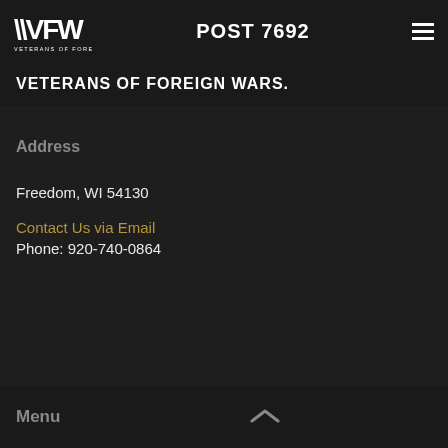POST 7692
VETERANS OF FOREIGN WARS.
Address
Freedom, WI 54130
Contact Us via Email
Phone: 920-740-0864
Menu